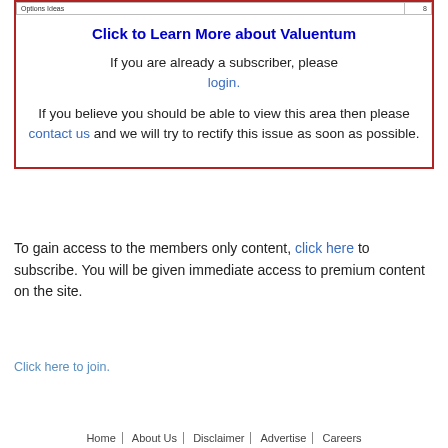[Figure (screenshot): Partial table row at top of red-bordered box showing 'Options Ideas' and number '8']
Click to Learn More about Valuentum
If you are already a subscriber, please login.
If you believe you should be able to view this area then please contact us and we will try to rectify this issue as soon as possible.
To gain access to the members only content, click here to subscribe. You will be given immediate access to premium content on the site.
Click here to join.
Home | About Us | Disclaimer | Advertise | Careers